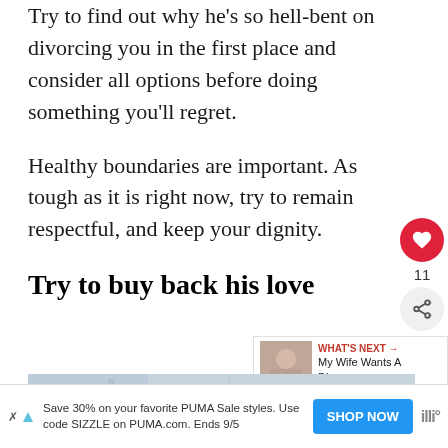Try to find out why he's so hell-bent on divorcing you in the first place and consider all options before doing something you'll regret.
Healthy boundaries are important. As tough as it is right now, try to remain respectful, and keep your dignity.
Try to buy back his love
[Figure (photo): Partial photo of a building or indoor scene, partially visible at bottom of page]
WHAT'S NEXT → My Wife Wants A Divorce:....
Save 30% on your favorite PUMA Sale styles. Use code SIZZLE on PUMA.com. Ends 9/5